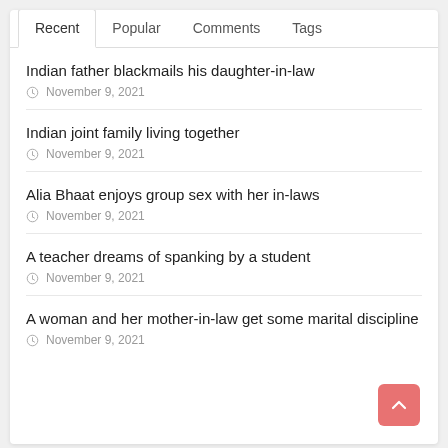Recent | Popular | Comments | Tags
Indian father blackmails his daughter-in-law
November 9, 2021
Indian joint family living together
November 9, 2021
Alia Bhaat enjoys group sex with her in-laws
November 9, 2021
A teacher dreams of spanking by a student
November 9, 2021
A woman and her mother-in-law get some marital discipline
November 9, 2021